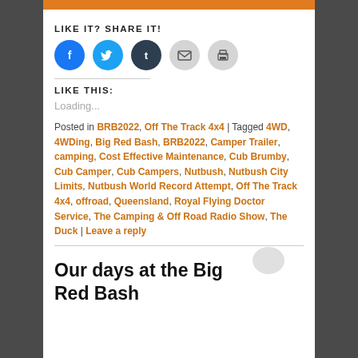[Figure (other): Orange banner bar at top of content area]
LIKE IT? SHARE IT!
[Figure (other): Social share buttons: Facebook (blue circle), Twitter (light blue circle), Tumblr (dark circle), Email (grey circle), Print (grey circle)]
LIKE THIS:
Loading...
Posted in BRB2022, Off The Track 4x4 | Tagged 4WD, 4WDing, Big Red Bash, BRB2022, Camper Trailer, camping, Cost Effective Maintenance, Cub Brumby, Cub Camper, Cub Campers, Nutbush, Nutbush City Limits, Nutbush World Record Attempt, Off The Track 4x4, offroad, Queensland, Royal Flying Doctor Service, The Camping & Off Road Radio Show, The Duck | Leave a reply
Our days at the Big Red Bash